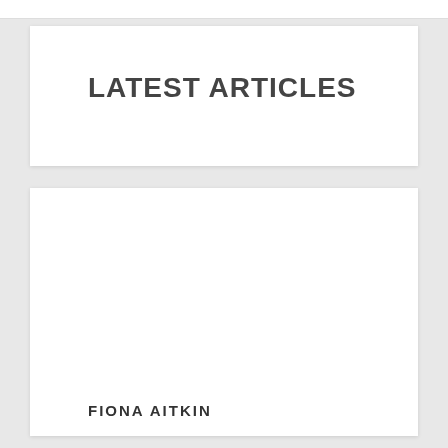LATEST ARTICLES
FIONA AITKIN
I've found your comparisons really useful and frequently refresh the page as we're about to pay a deposit on a house in Turkey. Pretty good.